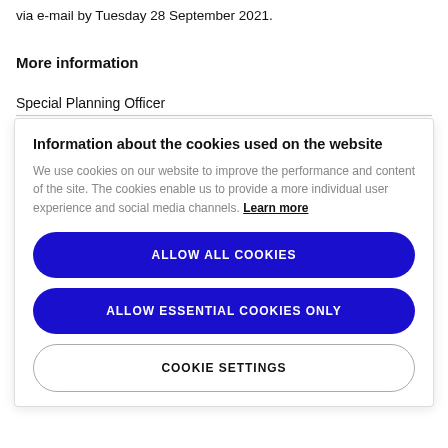via e-mail by Tuesday 28 September 2021.
More information
Special Planning Officer
Information about the cookies used on the website
We use cookies on our website to improve the performance and content of the site. The cookies enable us to provide a more individual user experience and social media channels. Learn more
ALLOW ALL COOKIES
ALLOW ESSENTIAL COOKIES ONLY
COOKIE SETTINGS